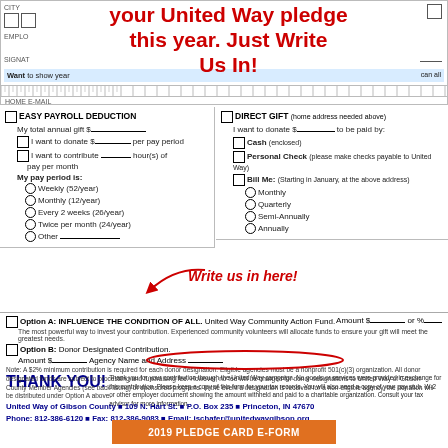your United Way pledge this year. Just Write Us In!
HOME E-MAIL
EASY PAYROLL DEDUCTION
My total annual gift $________
I want to donate $________ per pay period
I want to contribute ________ hour(s) of pay per month
My pay period is:
Weekly (52/year)
Monthly (12/year)
Every 2 weeks (26/year)
Twice per month (24/year)
Other ____________________
Write us in here!
DIRECT GIFT (home address needed above)
I want to donate $________ to be paid by:
Cash (enclosed)
Personal Check (please make checks payable to United Way)
Bill Me: (Starting in January, at the above address)
Monthly
Quarterly
Semi-Annually
Annually
Option A: INFLUENCE THE CONDITION OF ALL. United Way Community Action Fund. The most powerful way to invest your contribution. Experienced community volunteers will allocate funds to ensure your gift will meet the greatest needs. Amount $_________ or %___
Option B: Donor Designated Contribution. Amount $_________ Agency Name and Address _________
Note: A $2% minimum contribution is required for each donor designation. Eligible agencies must be a nonprofit 501(c)(3) organization. All donor designated funds are subject to processing and fundraising fee. However, no fee will be charged for donor designations to United Way of Gibson County Member Agencies (see back listing) or sponsored programs. In the event a designation is received for a non-eligible agency, the donation will be distributed under Option A above.
THANK YOU! Thank you for your contribution through the United Way campaign. No goods or services were provided in exchange for this contribution. Please keep a copy of this form for your tax records. You will also need a copy of your pay stub, W-2 or other employer document showing the amount withheld and paid to a charitable organization. Consult your tax advisor for more information.
United Way of Gibson County ▪ 109 N. Hart St. ▪ P.O. Box 235 ▪ Princeton, IN 47670
Phone: 812-386-6120 ▪ Fax: 812-386-9083 ▪ Email: jschafer@unitedwaygibson.org
2019 PLEDGE CARD E-FORM